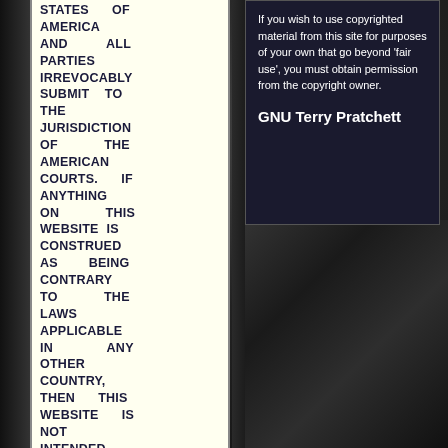STATES OF AMERICA AND ALL PARTIES IRREVOCABLY SUBMIT TO THE JURISDICTION OF THE AMERICAN COURTS. IF ANYTHING ON THIS WEBSITE IS CONSTRUED AS BEING CONTRARY TO THE LAWS APPLICABLE IN ANY OTHER COUNTRY, THEN THIS WEBSITE IS NOT INTENDED TO BE ACCESSED BY PERSONS FROM THAT COUNTRY AND ANY PERSONS WHO ARE SUBJECT TO SUCH LAWS
If you wish to use copyrighted material from this site for purposes of your own that go beyond 'fair use', you must obtain permission from the copyright owner.
GNU Terry Pratchett